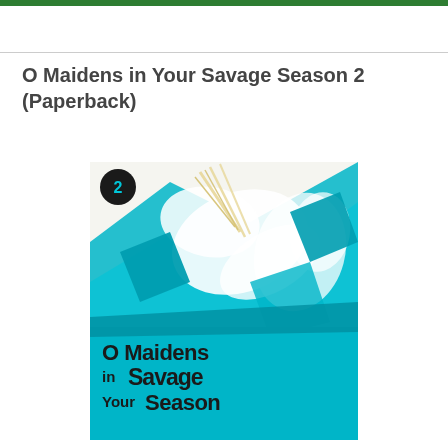O Maidens in Your Savage Season 2 (Paperback)
[Figure (illustration): Book cover of 'O Maidens in Your Savage Season 2' manga. Features anime-style illustration of characters in white and teal/turquoise colors with dynamic artwork. A black circle badge with '2' in teal is in the upper left. The title 'O Maidens in Your Savage Season' is written in bold stylized text at the bottom of the cover in black and teal.]